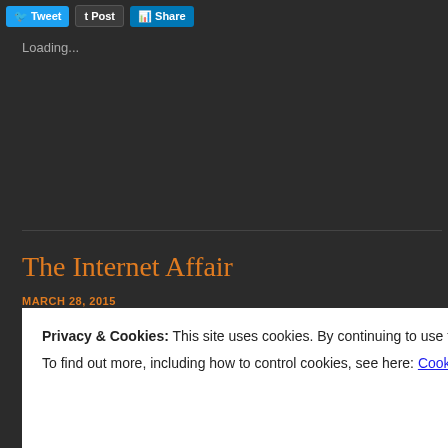[Figure (other): Social sharing buttons: Tweet (blue), Post (dark), Share (LinkedIn orange)]
Loading...
The Internet Affair
MARCH 28, 2015
Am I cheating, by liking someone, and flirting on the Internet? If found a soul, that readily engages me, and seems to be another p might want to know more fully, is this cheating? Some of the few I have in my life, are from not following through with possible relationships.
Privacy & Cookies: This site uses cookies. By continuing to use this website, you agree to their use.
To find out more, including how to control cookies, see here: Cookie Policy
Close and accept